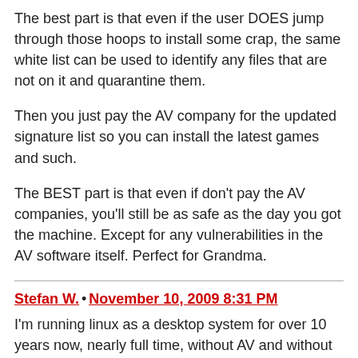The best part is that even if the user DOES jump through those hoops to install some crap, the same white list can be used to identify any files that are not on it and quarantine them.
Then you just pay the AV company for the updated signature list so you can install the latest games and such.
The BEST part is that even if don't pay the AV companies, you'll still be as safe as the day you got the machine. Except for any vulnerabilities in the AV software itself. Perfect for Grandma.
Stefan W. • November 10, 2009 8:31 PM
I'm running linux as a desktop system for over 10 years now, nearly full time, without AV and without malware.
Slaper and Scaper where worms, not virii, and infected apache, which isn't a typical desktop app, and since then 7 years have past. 🙂
Running AV-soft with an empty signature file does not make